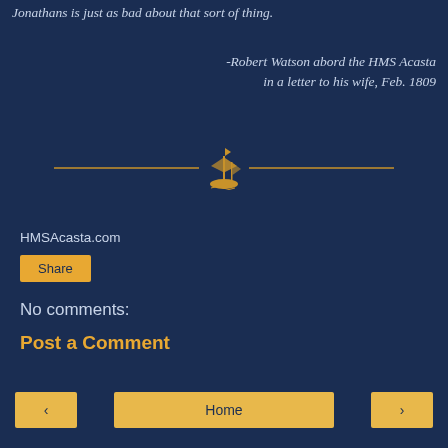Jonathans is just as bad about that sort of thing.
-Robert Watson abord the HMS Acasta in a letter to his wife, Feb. 1809
[Figure (illustration): Decorative horizontal divider with a golden sailing ship illustration in the center flanked by horizontal gold lines on a dark navy background.]
HMSAcasta.com
Share
No comments:
Post a Comment
< Home >